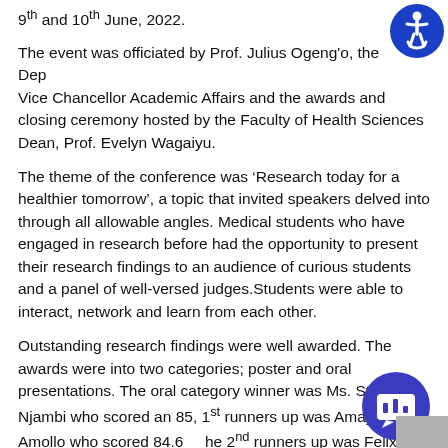9th and 10th June, 2022.
The event was officiated by Prof. Julius Ogeng'o, the Deputy Vice Chancellor Academic Affairs and the awards and closing ceremony hosted by the Faculty of Health Sciences Dean, Prof. Evelyn Wagaiyu.
The theme of the conference was ‘Research today for a healthier tomorrow’, a topic that invited speakers delved into through all allowable angles. Medical students who have engaged in research before had the opportunity to present their research findings to an audience of curious students and a panel of well-versed judges.Students were able to interact, network and learn from each other.
Outstanding research findings were well awarded. The awards were into two categories; poster and oral presentations. The oral category winner was Ms. Stephanie Njambi who scored an 85, 1st runners up was Amayo Amollo who scored 84.67, the 2nd runners up was Felix Njoroge who scored 84.14. The poster presentation winner was Ms. Khulud Nurani.
[Figure (logo): Accessibility icon — blue circle with white wheelchair user symbol]
[Figure (logo): Blue chat/messaging bot icon with bar chart symbol]